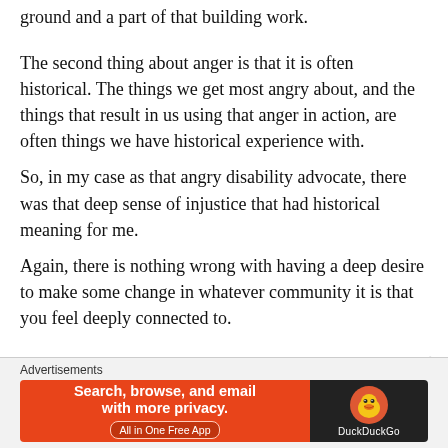ground and a part of that building work.
The second thing about anger is that it is often historical. The things we get most angry about, and the things that result in us using that anger in action, are often things we have historical experience with.
So, in my case as that angry disability advocate, there was that deep sense of injustice that had historical meaning for me.
Again, there is nothing wrong with having a deep desire to make some change in whatever community it is that you feel deeply connected to.
Advertisements
[Figure (screenshot): DuckDuckGo advertisement banner: orange left panel with text 'Search, browse, and email with more privacy. All in One Free App' and dark right panel with DuckDuckGo duck logo and brand name.]